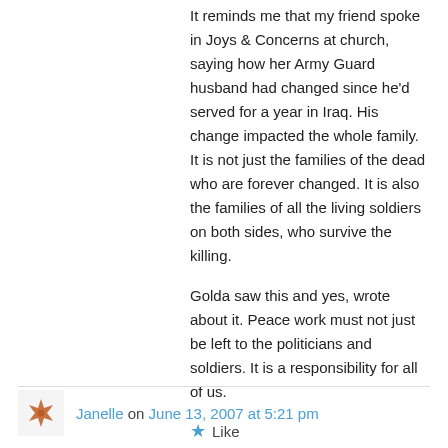It reminds me that my friend spoke in Joys & Concerns at church, saying how her Army Guard husband had changed since he'd served for a year in Iraq. His change impacted the whole family. It is not just the families of the dead who are forever changed. It is also the families of all the living soldiers on both sides, who survive the killing.
Golda saw this and yes, wrote about it. Peace work must not just be left to the politicians and soldiers. It is a responsibility for all of us.
★ Like
Janelle on June 13, 2007 at 5:21 pm